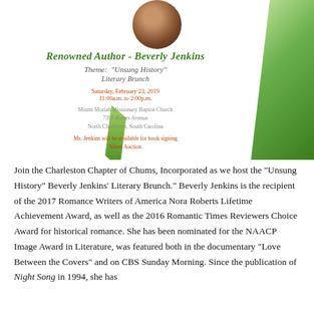[Figure (photo): Circular portrait photo of Beverly Jenkins at top center of flyer, with green decorative geometric panels on right and left sides.]
Renowned Author - Beverly Jenkins
Theme: "Unsung History"
Literary Brunch
Saturday, February 23, 2019
11:00a.m. to 2:00p.m.
Mount Moriah Missionary Baptist Church
7395 Rivers Avenue
North Charleston, South Carolina
Ms. Jenkins will be available for book signing
Silent Auction
Join the Charleston Chapter of Chums, Incorporated as we host the "Unsung History" Beverly Jenkins' Literary Brunch. Beverly Jenkins is the recipient of the 2017 Romance Writers of America Nora Roberts Lifetime Achievement Award, as well as the 2016 Romantic Times Reviewers Choice Award for historical romance. She has been nominated for the NAACP Image Award in Literature, was featured both in the documentary "Love Between the Covers" and on CBS Sunday Morning. Since the publication of Night Song in 1994, she has